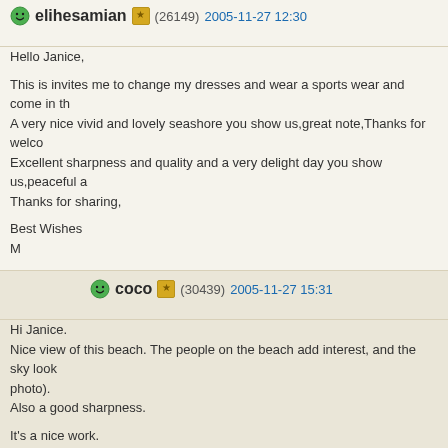elihesamian (26149) 2005-11-27 12:30
Hello Janice,

This is invites me to change my dresses and wear a sports wear and come in th...
A very nice vivid and lovely seashore you show us,great note,Thanks for welco...
Excellent sharpness and quality and a very delight day you show us,peaceful a...
Thanks for sharing,

Best Wishes
M
coco (30439) 2005-11-27 15:31
Hi Janice.
Nice view of this beach. The people on the beach add interest, and the sky look...
photo).
Also a good sharpness.

It's a nice work.

Regards.
ArtLook (2348) 2005-11-28 5:45
Hi Janice,
Interesting view on the beach located not so far from your home. Very nic...